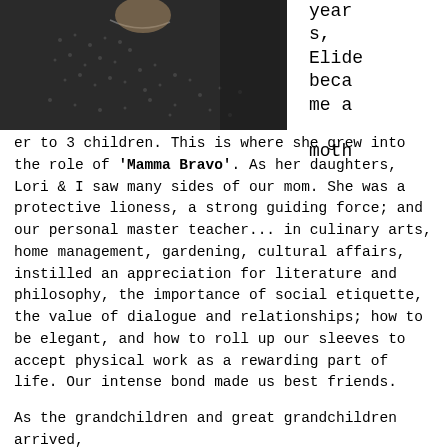[Figure (photo): A woman in a patterned black and white jacket/top, with jewelry, photographed from the torso up.]
years, Elide became a mother to 3 children. This is where she grew into the role of 'Mamma Bravo'. As her daughters, Lori & I saw many sides of our mom. She was a protective lioness, a strong guiding force; and our personal master teacher... in culinary arts, home management, gardening, cultural affairs, instilled an appreciation for literature and philosophy, the importance of social etiquette, the value of dialogue and relationships; how to be elegant, and how to roll up our sleeves to accept physical work as a rewarding part of life. Our intense bond made us best friends.
As the grandchildren and great grandchildren arrived,